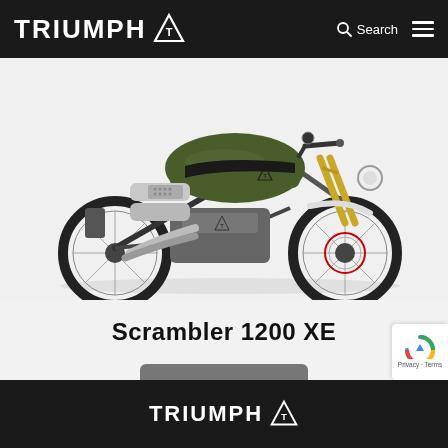TRIUMPH
[Figure (photo): Triumph Scrambler 1200 XE motorcycle in olive green and black finish with gold front forks, high exhaust pipes, wire-spoke wheels, shown in profile view against white background]
Scrambler 1200 XE
DETAIL
TRIUMPH